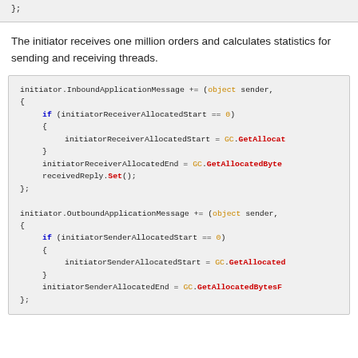[Figure (screenshot): Partial code block at top of page showing end of previous code snippet with '};']
The initiator receives one million orders and calculates statistics for sending and receiving threads.
[Figure (screenshot): Code block showing C# event handler code for initiator.InboundApplicationMessage and initiator.OutboundApplicationMessage with GC memory allocation tracking logic]